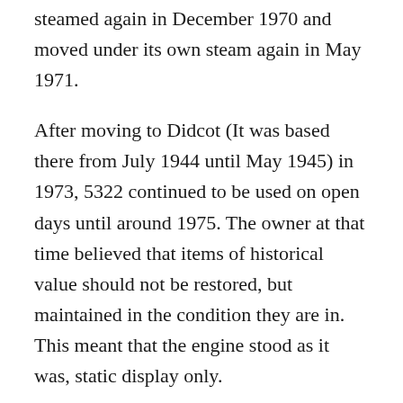steamed again in December 1970 and moved under its own steam again in May 1971.
After moving to Didcot (It was based there from July 1944 until May 1945) in 1973, 5322 continued to be used on open days until around 1975. The owner at that time believed that items of historical value should not be restored, but maintained in the condition they are in. This meant that the engine stood as it was, static display only.
Following the death of the owner in 1979 the locomotive was purchased by the Great Western Society. A fund was then started to restore the engine.
Thus since the early 90s various bits have been